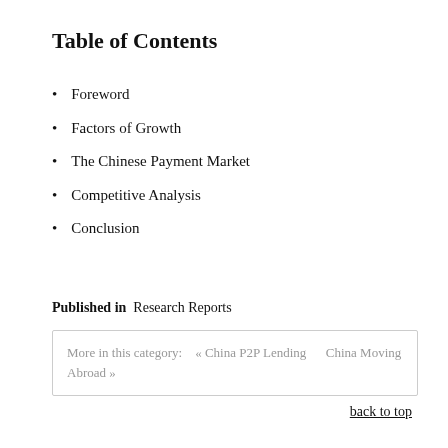Table of Contents
Foreword
Factors of Growth
The Chinese Payment Market
Competitive Analysis
Conclusion
Published in  Research Reports
More in this category:   « China P2P Lending     China Moving Abroad »
back to top